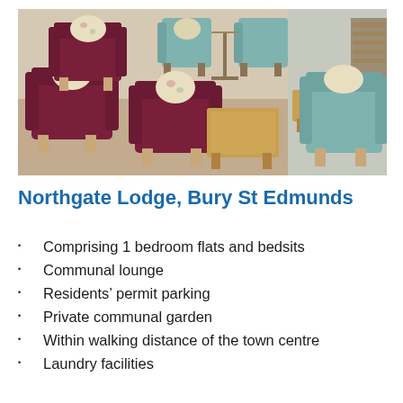[Figure (photo): Interior photo of a communal lounge area with dark red/maroon upholstered armchairs with wooden legs, teal/aqua fabric chairs, light wooden coffee tables, and beige carpet flooring.]
Northgate Lodge, Bury St Edmunds
Comprising 1 bedroom flats and bedsits
Communal lounge
Residents' permit parking
Private communal garden
Within walking distance of the town centre
Laundry facilities